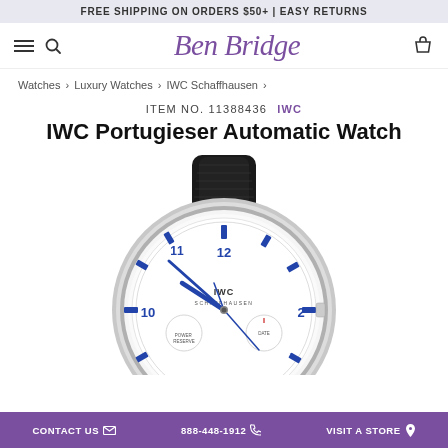FREE SHIPPING ON ORDERS $50+ | EASY RETURNS
[Figure (logo): Ben Bridge jeweler logo in purple italic script]
Watches › Luxury Watches › IWC Schaffhausen ›
ITEM NO. 11388436   IWC
IWC Portugieser Automatic Watch
[Figure (photo): Close-up photo of IWC Portugieser Automatic Watch with white dial, blue Arabic numerals, blue hands, sub-dials, and black alligator leather strap]
CONTACT US   888-448-1912   VISIT A STORE